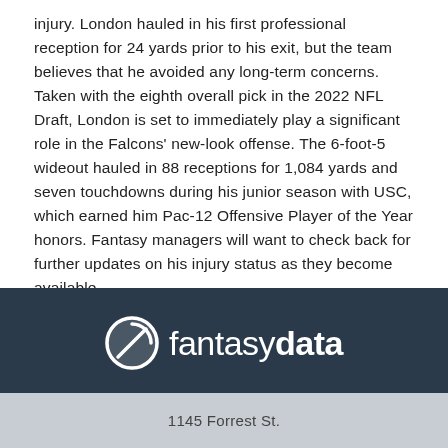injury. London hauled in his first professional reception for 24 yards prior to his exit, but the team believes that he avoided any long-term concerns. Taken with the eighth overall pick in the 2022 NFL Draft, London is set to immediately play a significant role in the Falcons' new-look offense. The 6-foot-5 wideout hauled in 88 receptions for 1,084 yards and seven touchdowns during his junior season with USC, which earned him Pac-12 Offensive Player of the Year honors. Fantasy managers will want to check back for further updates on his injury status as they become available.
7 days ago   RotoBaller
[Figure (logo): FantasyData logo — circular swoosh icon in white, followed by the wordmark 'fantasy' (light) + 'data' (bold) in white on dark navy background]
1145 Forrest St.